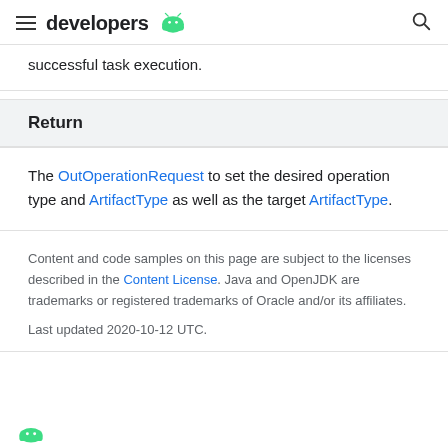developers
successful task execution.
Return
The OutOperationRequest to set the desired operation type and ArtifactType as well as the target ArtifactType.
Content and code samples on this page are subject to the licenses described in the Content License. Java and OpenJDK are trademarks or registered trademarks of Oracle and/or its affiliates.
Last updated 2020-10-12 UTC.